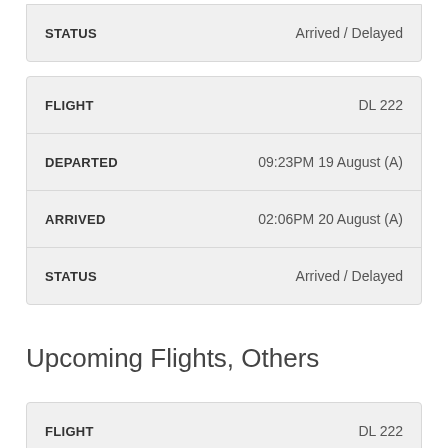| Field | Value |
| --- | --- |
| STATUS | Arrived / Delayed |
| Field | Value |
| --- | --- |
| FLIGHT | DL 222 |
| DEPARTED | 09:23PM 19 August (A) |
| ARRIVED | 02:06PM 20 August (A) |
| STATUS | Arrived / Delayed |
Upcoming Flights, Others
| Field | Value |
| --- | --- |
| FLIGHT | DL 222 |
| DEPARTED | 05:35PM 23 August (E) |
| ARRIVED | 11:20AM 24 August (E) |
| STATUS | Scheduled |